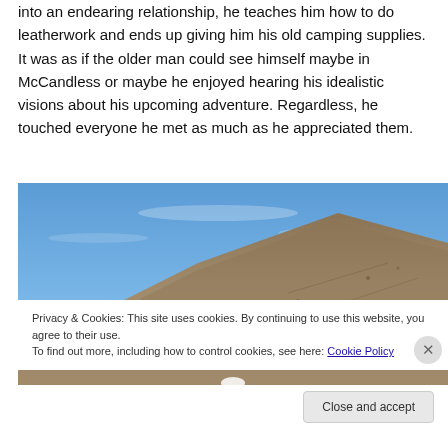into an endearing relationship, he teaches him how to do leatherwork and ends up giving him his old camping supplies. It was as if the older man could see himself maybe in McCandless or maybe he enjoyed hearing his idealistic visions about his upcoming adventure. Regardless, he touched everyone he met as much as he appreciated them.
[Figure (photo): Outdoor rocky hillside under blue sky, partial view showing steep terrain.]
Privacy & Cookies: This site uses cookies. By continuing to use this website, you agree to their use.
To find out more, including how to control cookies, see here: Cookie Policy
Close and accept